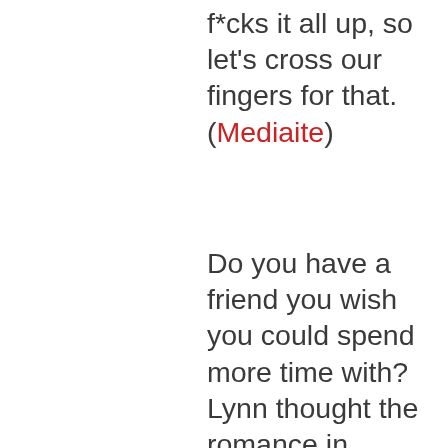f*cks it all up, so let's cross our fingers for that. (Mediaite)
Do you have a friend you wish you could spend more time with? Lynn thought the romance in Christina Lauren's The Soulmate Equation was cute, but what really spoke to her was the best friendship. It made her think of her own best friend, who lives too far away, "I finished this book and sent her a text